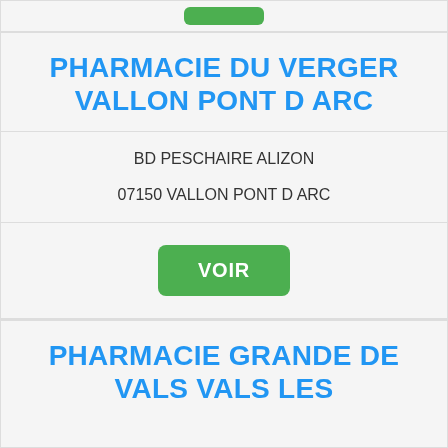[Figure (screenshot): Top strip with a small green button]
PHARMACIE DU VERGER VALLON PONT D ARC
BD PESCHAIRE ALIZON
07150 VALLON PONT D ARC
VOIR
PHARMACIE GRANDE DE VALS VALS LES